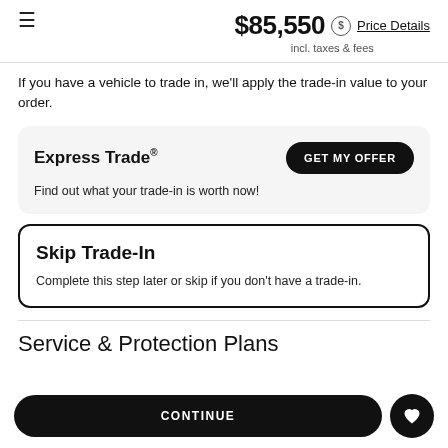$85,550 incl. taxes & fees Price Details
If you have a vehicle to trade in, we'll apply the trade-in value to your order.
Express Trade® — Find out what your trade-in is worth now! GET MY OFFER
Skip Trade-In — Complete this step later or skip if you don't have a trade-in.
Service & Protection Plans
CONTINUE